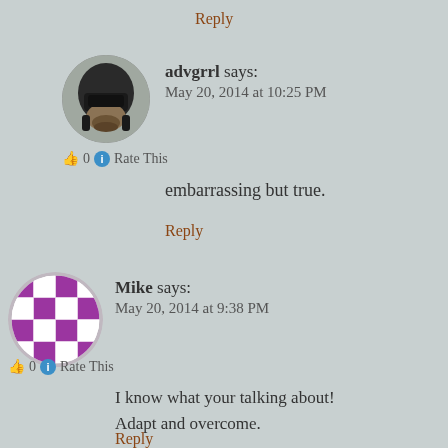Reply
[Figure (photo): Avatar photo of advgrrl wearing a motorcycle helmet]
advgrrl says:
May 20, 2014 at 10:25 PM
👍 0 ℹ Rate This
embarrassing but true.
Reply
[Figure (illustration): Avatar for Mike - purple and white geometric/checkerboard pattern circle]
Mike says:
May 20, 2014 at 9:38 PM
👍 0 ℹ Rate This
I know what your talking about!
Adapt and overcome.
Reply